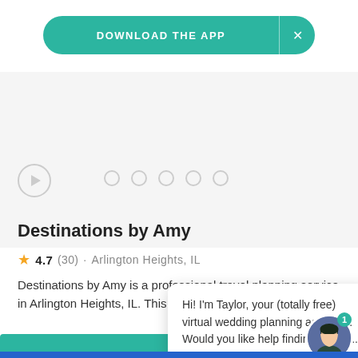[Figure (screenshot): Download the App banner button in teal with X close button]
[Figure (other): Carousel image area with play button and navigation dots]
Destinations by Amy
4.7 (30) · Arlington Heights, IL
Destinations by Amy is a professional travel planning service in Arlington Heights, IL. This team of experien
Hi! I'm Taylor, your (totally free) virtual wedding planning assistant. Would you like help finding vendo...